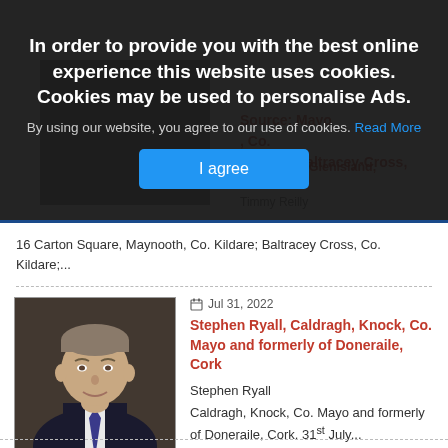In order to provide you with the best online experience this website uses cookies. Cookies may be used to personalise Ads.
By using our website, you agree to our use of cookies. Read More
I agree
16 Carton Square, Maynooth, Co. Kildare; Baltracey Cross, Co. Kildare;...
[Figure (photo): Portrait photo of Stephen Ryall, an older man in a suit]
Jul 31, 2022
Stephen Ryall, Caldragh, Knock, Co. Mayo and formerly of Doneraile, Cork
Stephen Ryall
Caldragh, Knock, Co. Mayo and formerly of Doneraile, Cork. 31st July...